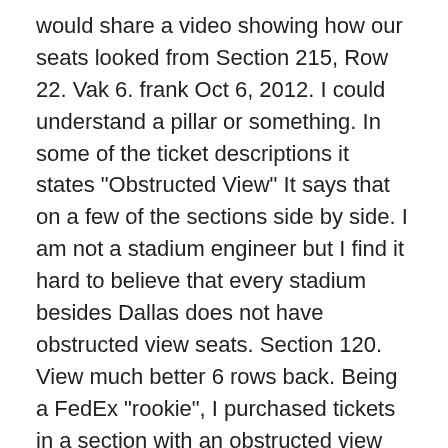would share a video showing how our seats looked from Section 215, Row 22. Vak 6. frank Oct 6, 2012. I could understand a pillar or something. In some of the ticket descriptions it states "Obstructed View" It says that on a few of the sections side by side. I am not a stadium engineer but I find it hard to believe that every stadium besides Dallas does not have obstructed view seats. Section 120. View much better 6 rows back. Being a FedEx "rookie", I purchased tickets in a section with an obstructed view (the seller didn't reveal at time of purchase). bksb8. I had an obstructed view sect 126, row 1 seat 21, right behind one of the lighting towers on the field. The general ticket operations oversee